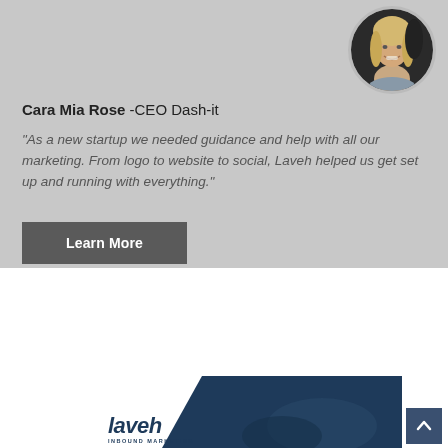[Figure (photo): Circular profile photo of a woman with blonde hair, smiling, positioned in the top-right of the gray section]
Cara Mia Rose -CEO Dash-it
"As a new startup we needed guidance and help with all our marketing. From logo to website to social, Laveh helped us get set up and running with everything."
Learn More
[Figure (logo): Laveh Inbound Marketing logo with italic bold text and navy diagonal shape/chevron in the bottom section]